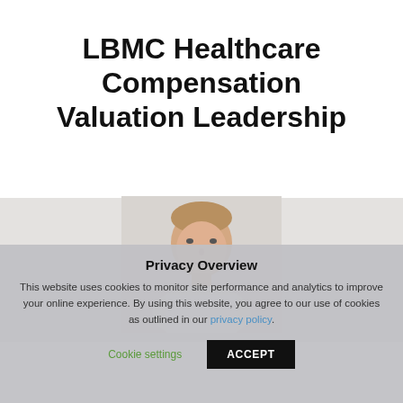LBMC Healthcare Compensation Valuation Leadership
[Figure (photo): Headshot photo of a man with short blond hair against a white background, cropped to show head and upper shoulders]
Privacy Overview
This website uses cookies to monitor site performance and analytics to improve your online experience. By using this website, you agree to our use of cookies as outlined in our privacy policy.
Cookie settings    ACCEPT